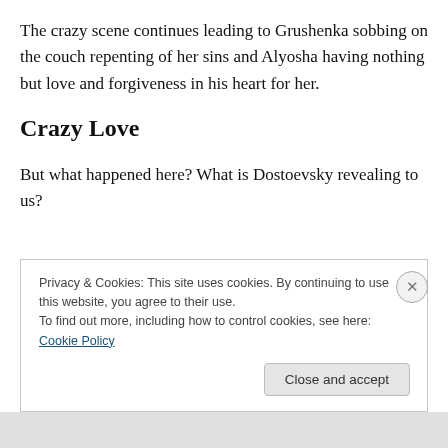The crazy scene continues leading to Grushenka sobbing on the couch repenting of her sins and Alyosha having nothing but love and forgiveness in his heart for her.
Crazy Love
But what happened here? What is Dostoevsky revealing to us?
Privacy & Cookies: This site uses cookies. By continuing to use this website, you agree to their use.
To find out more, including how to control cookies, see here: Cookie Policy